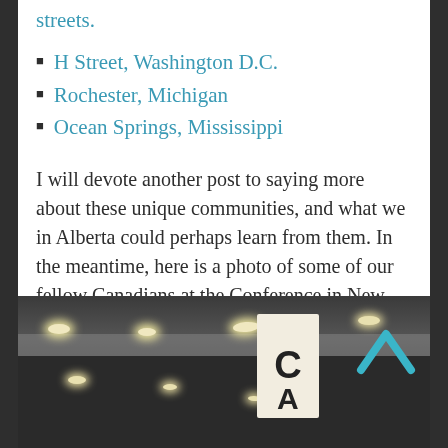streets.
H Street, Washington D.C.
Rochester, Michigan
Ocean Springs, Mississippi
I will devote another post to saying more about these unique communities, and what we in Alberta could perhaps learn from them. In the meantime, here is a photo of some of our fellow Canadians at the Conference in New Orleans.
[Figure (photo): Indoor conference hall photo showing ceiling with recessed lights and a white vertical sign with letters 'C' and 'A' visible. A teal chevron/arrow icon appears in the upper right corner of the photo.]